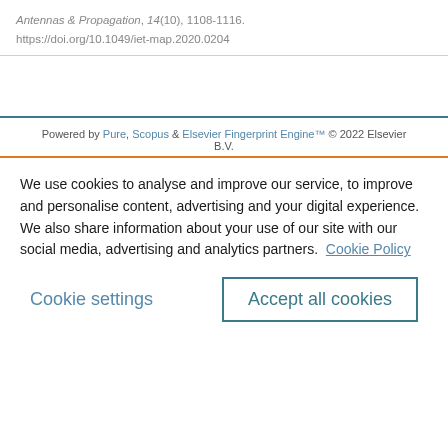Antennas & Propagation, 14(10), 1108-1116.
https://doi.org/10.1049/iet-map.2020.0204
Powered by Pure, Scopus & Elsevier Fingerprint Engine™ © 2022 Elsevier B.V.
We use cookies to analyse and improve our service, to improve and personalise content, advertising and your digital experience. We also share information about your use of our site with our social media, advertising and analytics partners.  Cookie Policy
Cookie settings
Accept all cookies